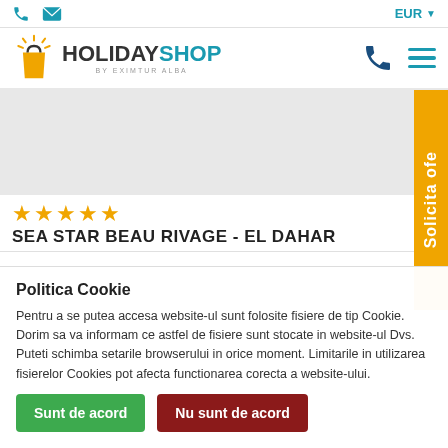HOLIDAYSHOP by EXIMTUR ALBA — EUR
[Figure (screenshot): Gray banner placeholder area]
★★★★★
SEA STAR BEAU RIVAGE - EL DAHAR
Politica Cookie
Pentru a se putea accesa website-ul sunt folosite fisiere de tip Cookie. Dorim sa va informam ce astfel de fisiere sunt stocate in website-ul Dvs.
Puteti schimba setarile browserului in orice moment. Limitarile in utilizarea fisierelor Cookies pot afecta functionarea corecta a website-ului.
Sunt de acord
Nu sunt de acord